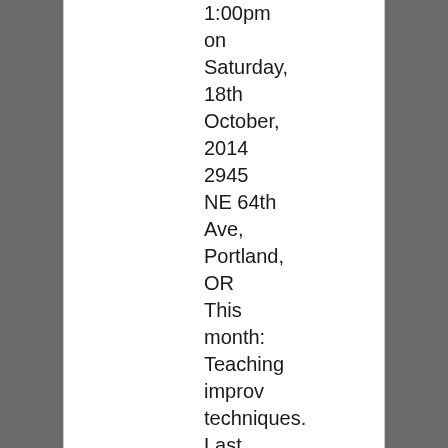1:00pm on Saturday, 18th October, 2014 2945 NE 64th Ave, Portland, OR This month: Teaching improv techniques. Last month's discussion mentioned that they might be